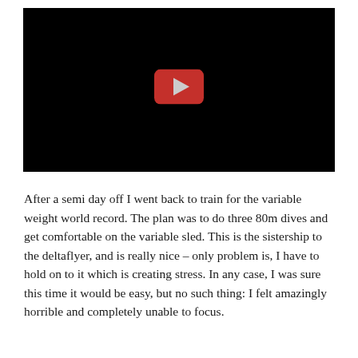[Figure (screenshot): Embedded YouTube video thumbnail showing a black screen with the YouTube play button (red rounded rectangle with white/grey play triangle) centered in the upper portion.]
After a semi day off I went back to train for the variable weight world record. The plan was to do three 80m dives and get comfortable on the variable sled. This is the sistership to the deltaflyer, and is really nice - only problem is, I have to hold on to it which is creating stress. In any case, I was sure this time it would be easy, but no such thing: I felt amazingly horrible and completely unable to focus.